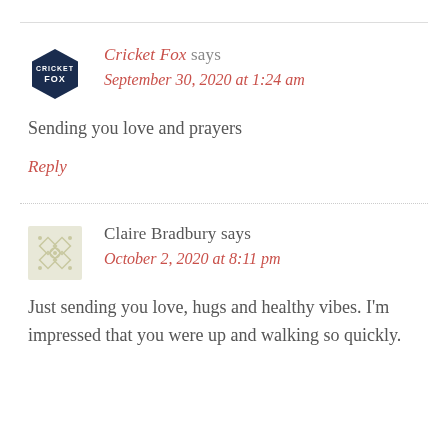Cricket Fox says
September 30, 2020 at 1:24 am
Sending you love and prayers
Reply
Claire Bradbury says
October 2, 2020 at 8:11 pm
Just sending you love, hugs and healthy vibes. I'm impressed that you were up and walking so quickly.